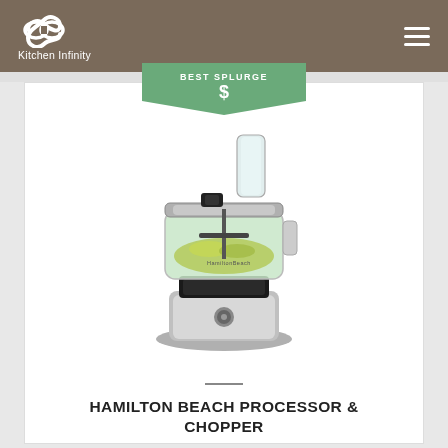Kitchen Infinity
[Figure (other): BEST SPLURGE badge (green pentagon/arrow shape) with dollar sign symbol, above a Hamilton Beach food processor and chopper product image on a white card]
HAMILTON BEACH PROCESSOR & CHOPPER